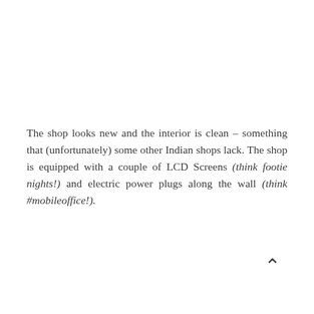The shop looks new and the interior is clean – something that (unfortunately) some other Indian shops lack. The shop is equipped with a couple of LCD Screens (think footie nights!) and electric power plugs along the wall (think #mobileoffice!).
^